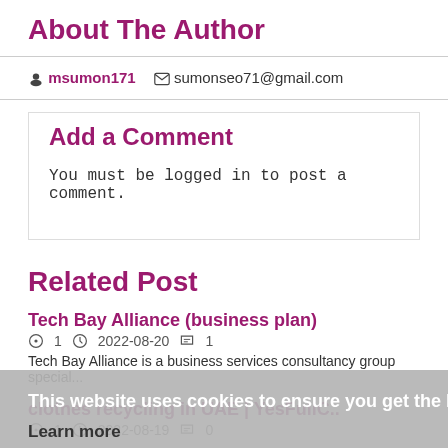About The Author
msumon171   sumonseo71@gmail.com
Add a Comment
You must be logged in to post a comment.
Related Post
Tech Bay Alliance (business plan)
1   2022-08-20   1
Tech Bay Alliance is a business services consultancy group special...
This website uses cookies to ensure you get the best experience on our website.
Learn more
Got it!
clothes recycling in UAE | YesFullC..
1   2022-08-19   0